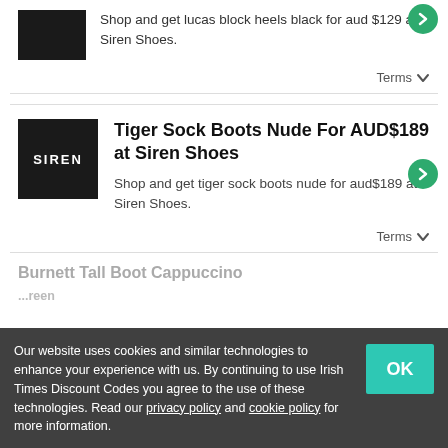[Figure (logo): Black rectangle logo placeholder at top]
Shop and get lucas block heels black for aud $129 at Siren Shoes.
Terms
[Figure (logo): Siren Shoes black square logo with SIREN text]
Tiger Sock Boots Nude For AUD$189 at Siren Shoes
Shop and get tiger sock boots nude for aud$189 at Siren Shoes.
Terms
Burnett Tall Boot Cappuccino Nappa for AUD$... at Siren Shoes
Our website uses cookies and similar technologies to enhance your experience with us. By continuing to use Irish Times Discount Codes you agree to the use of these technologies. Read our privacy policy and cookie policy for more information.